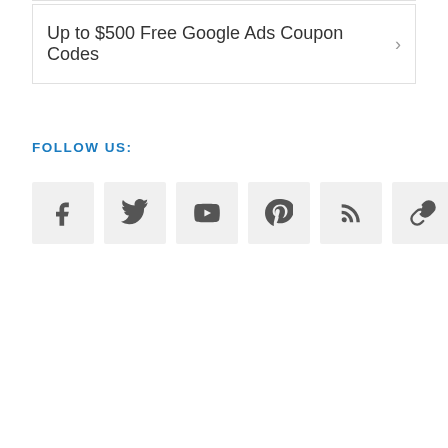Up to $500 Free Google Ads Coupon Codes >
FOLLOW US:
[Figure (infographic): Row of six social media icon buttons: Facebook, Twitter, YouTube, Pinterest, RSS feed, and link/chain icon]